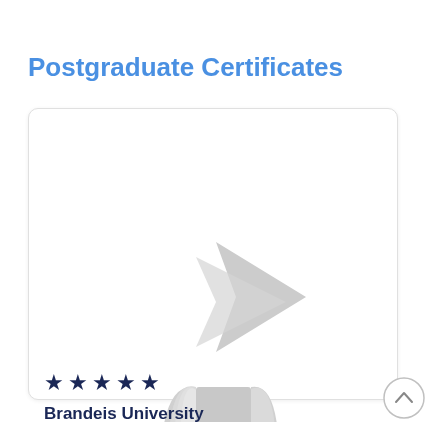Postgraduate Certificates
[Figure (logo): Stylized gray logo consisting of an open book at the bottom and a right-pointing arrow/chevron shape at the top right, both in light gray]
★ ★ ★ ★ ★
Brandeis University